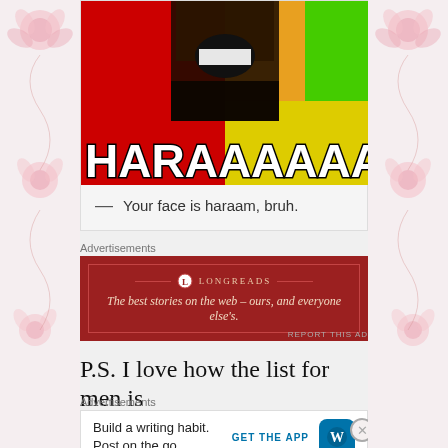[Figure (illustration): Meme image showing a bearded man with mouth open against a red, orange, green and yellow background with large bold white text reading HARAAAAAAAM!!!]
— Your face is haraam, bruh.
Advertisements
[Figure (other): Longreads advertisement banner with dark red background reading: The best stories on the web – ours, and everyone else's.]
REPORT THIS AD
P.S. I love how the list for men is
Advertisements
[Figure (other): WordPress advertisement: Build a writing habit. Post on the go. GET THE APP with WordPress logo.]